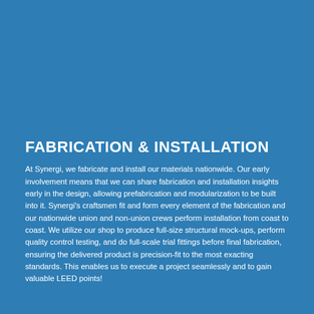FABRICATION & INSTALLATION
At Synergi, we fabricate and install our materials nationwide. Our early involvement means that we can share fabrication and installation insights early in the design, allowing prefabrication and modularization to be built into it. Synergi's craftsmen fit and form every element of the fabrication and our nationwide union and non-union crews perform installation from coast to coast. We utilize our shop to produce full-size structural mock-ups, perform quality control testing, and do full-scale trial fittings before final fabrication, ensuring the delivered product is precision-fit to the most exacting standards. This enables us to execute a project seamlessly and to gain valuable LEED points!